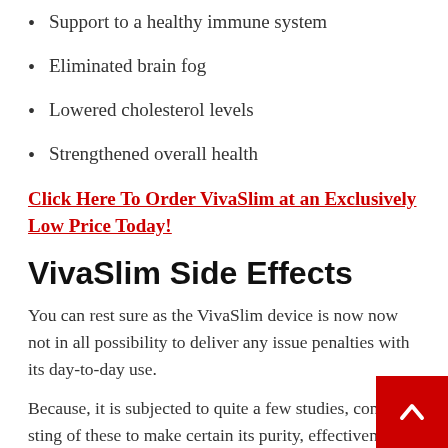Support to a healthy immune system
Eliminated brain fog
Lowered cholesterol levels
Strengthened overall health
Click Here To Order VivaSlim at an Exclusively Low Price Today!
VivaSlim Side Effects
You can rest sure as the VivaSlim device is now now not in all possibility to deliver any issue penalties with its day-to-day use.
Because, it is subjected to quite a few studies, consisting of these to make certain its purity, effectiveness, and safety.